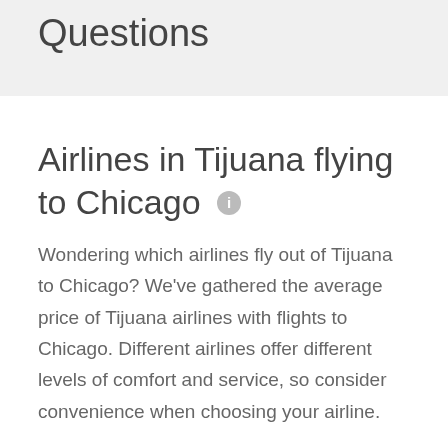Questions
Airlines in Tijuana flying to Chicago
Wondering which airlines fly out of Tijuana to Chicago? We've gathered the average price of Tijuana airlines with flights to Chicago. Different airlines offer different levels of comfort and service, so consider convenience when choosing your airline.